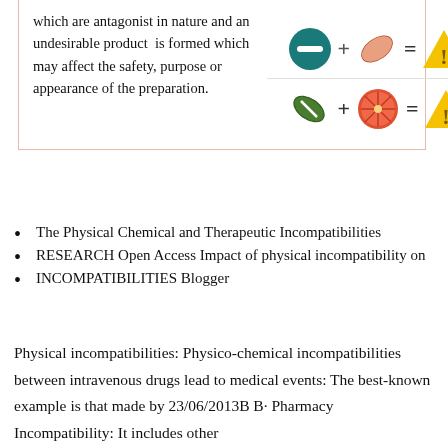which are antagonist in nature and an undesirable product is formed which may affect the safety, purpose or appearance of the preparation.
[Figure (illustration): Two icon rows inside a bordered box: Row 1 shows a teal pill circle + orange capsule = warning triangle. Row 2 shows a green capsule + orange fruit slice = warning triangle. Represents drug incompatibilities.]
The Physical Chemical and Therapeutic Incompatibilities
RESEARCH Open Access Impact of physical incompatibility on
INCOMPATIBILITIES Blogger
Physical incompatibilities: Physico-chemical incompatibilities between intravenous drugs lead to medical events: The best-known example is that made by 23/06/2013B B· Pharmacy Incompatibility: It includes other